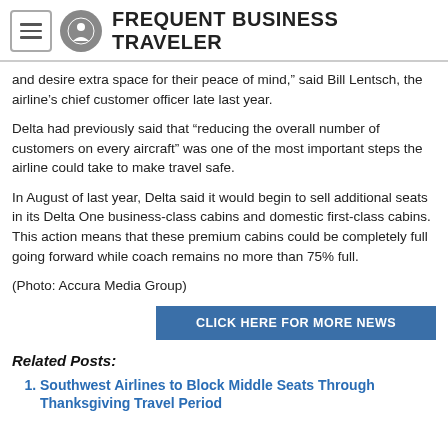FREQUENT BUSINESS TRAVELER
and desire extra space for their peace of mind,” said Bill Lentsch, the airline’s chief customer officer late last year.
Delta had previously said that “reducing the overall number of customers on every aircraft” was one of the most important steps the airline could take to make travel safe.
In August of last year, Delta said it would begin to sell additional seats in its Delta One business-class cabins and domestic first-class cabins.  This action means that these premium cabins could be completely full going forward while coach remains no more than 75% full.
(Photo: Accura Media Group)
CLICK HERE FOR MORE NEWS
Related Posts:
Southwest Airlines to Block Middle Seats Through Thanksgiving Travel Period